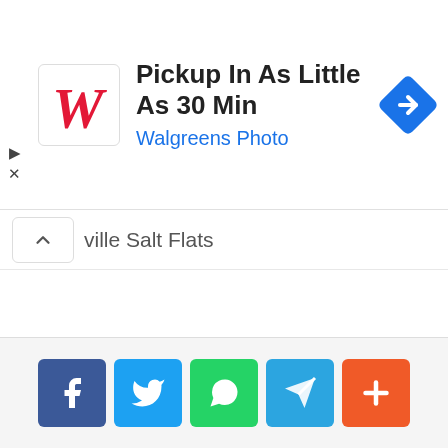[Figure (screenshot): Walgreens Photo advertisement banner: Walgreens logo on left, headline 'Pickup In As Little As 30 Min' in bold black, subtext 'Walgreens Photo' in blue, blue diamond navigation icon on right. Small play and close controls on far left.]
ville Salt Flats
[Figure (infographic): Social share buttons row: Facebook (blue), Twitter (light blue), WhatsApp (green), Telegram (blue), More/Plus (orange-red)]